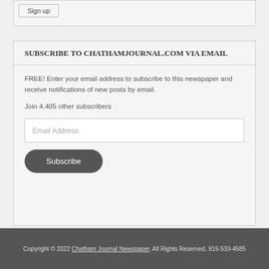[Figure (screenshot): Sign up button inside a bordered box at top of page]
SUBSCRIBE TO CHATHAMJOURNAL.COM VIA EMAIL
FREE! Enter your email address to subscribe to this newspaper and receive notifications of new posts by email.
Join 4,405 other subscribers
[Figure (screenshot): Email Address input field]
[Figure (screenshot): Subscribe button]
Copyright © 2022 Chatham Journal Newspaper. All Rights Reserved. 919-533-4585